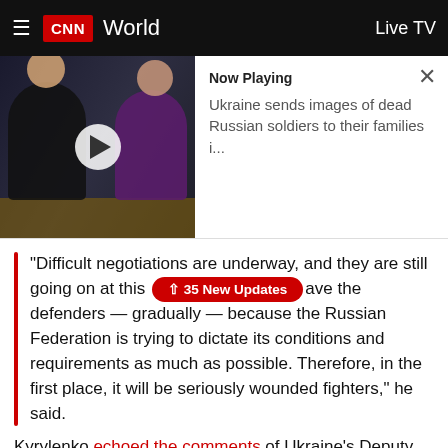CNN World  Live TV
[Figure (screenshot): CNN video player showing two people at a table, with Now Playing card: 'Ukraine sends images of dead Russian soldiers to their families i...']
"Difficult negotiations are underway, and they are still going on at this [↑ 35 New Updates] ave the defenders — gradually — because the Russian Federation is trying to dictate its conditions and requirements as much as possible. Therefore, in the first place, it will be seriously wounded fighters," he said.
Kyrylenko echoed the comments of Ukraine's Deputy Prime Minister Iryna Vereshchuk that the Ukrainian side would not offer detailed comments about the process.
"We have to talk about it only when people will be safe.